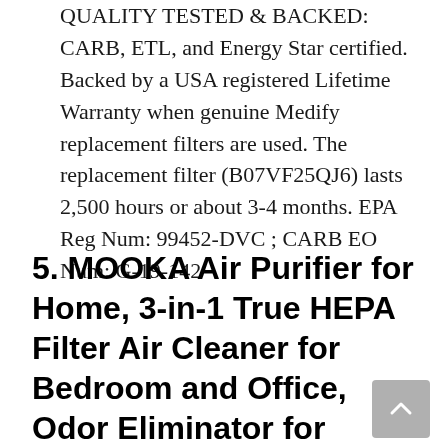QUALITY TESTED & BACKED: CARB, ETL, and Energy Star certified. Backed by a USA registered Lifetime Warranty when genuine Medify replacement filters are used. The replacement filter (B07VF25QJ6) lasts 2,500 hours or about 3-4 months. EPA Reg Num: 99452-DVC ; CARB EO Num: G-19-142
5. MOOKA Air Purifier for Home, 3-in-1 True HEPA Filter Air Cleaner for Bedroom and Office, Odor Eliminator for Allergies and Pets, Smoke, Dust, Mold, 3D Filtration